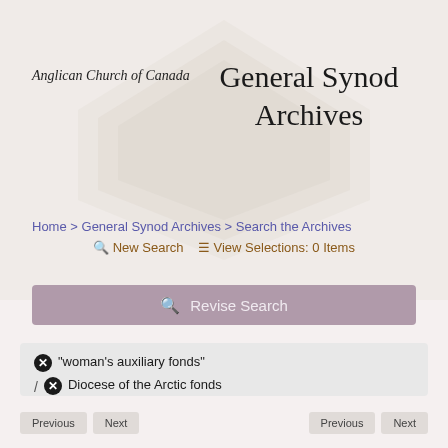Anglican Church of Canada | General Synod Archives
Home > General Synod Archives > Search the Archives
New Search   View Selections: 0 Items
Revise Search
"woman's auxiliary fonds"
/ Diocese of the Arctic fonds
/ Woman's Auxiliary fonds
/ Anglican Church of Canada. Diocese of Saskatchewan
/ Indian and Eskimo Residential Schools